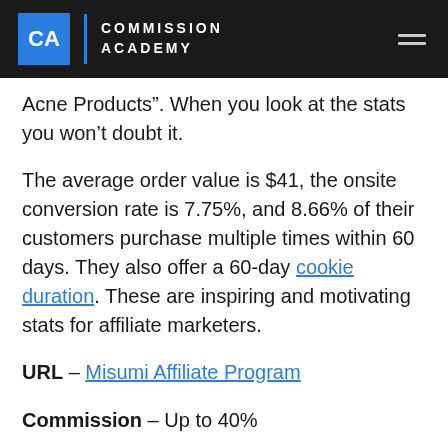CA COMMISSION ACADEMY
Acne Products". When you look at the stats you won’t doubt it.
The average order value is $41, the onsite conversion rate is 7.75%, and 8.66% of their customers purchase multiple times within 60 days. They also offer a 60-day cookie duration. These are inspiring and motivating stats for affiliate marketers.
URL – Misumi Affiliate Program
Commission – Up to 40%